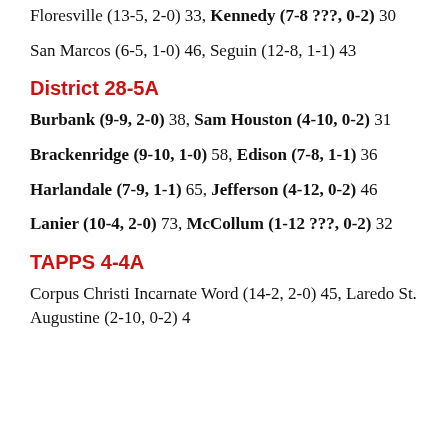Floresville (13-5, 2-0) 33, Kennedy (7-8 ???, 0-2) 30
San Marcos (6-5, 1-0) 46, Seguin (12-8, 1-1) 43
District 28-5A
Burbank (9-9, 2-0) 38, Sam Houston (4-10, 0-2) 31
Brackenridge (9-10, 1-0) 58, Edison (7-8, 1-1) 36
Harlandale (7-9, 1-1) 65, Jefferson (4-12, 0-2) 46
Lanier (10-4, 2-0) 73, McCollum (1-12 ???, 0-2) 32
TAPPS 4-4A
Corpus Christi Incarnate Word (14-2, 2-0) 45, Laredo St. Augustine (2-10, 0-2) 4